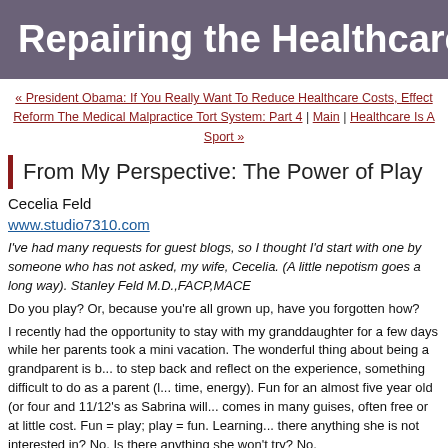Repairing the Healthcare Syst...
« President Obama: If You Really Want To Reduce Healthcare Costs, Effect Reform The Medical Malpractice Tort System: Part 4 | Main | Healthcare Is A Sport »
From My Perspective: The Power of Play
Cecelia Feld
www.studio7310.com
I've had many requests for guest blogs, so I thought I'd start with one by someone who has not asked, my wife, Cecelia. (A little nepotism goes a long way). Stanley Feld M.D.,FACP,MACE
Do you play? Or, because you're all grown up, have you forgotten how?
I recently had the opportunity to stay with my granddaughter for a few days while her parents took a mini vacation. The wonderful thing about being a grandparent is being able to step back and reflect on the experience, something difficult to do as a parent (lack of time, energy). Fun for an almost five year old (or four and 11/12's as Sabrina will tell you) comes in many guises, often free or at little cost. Fun = play; play = fun. Learning = fun. Is there anything she is not interested in? No. Is there anything she won't try? No.
During the time she wasn't in pre-school we went from classes in tap, gymnastic...